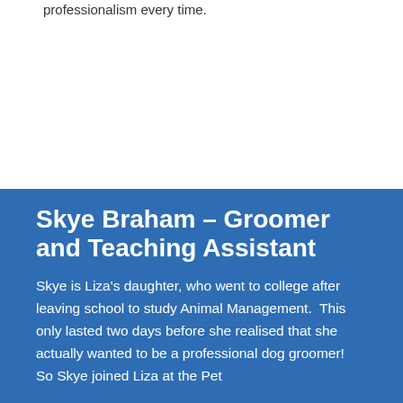professionalism every time.
Skye Braham – Groomer and Teaching Assistant
Skye is Liza's daughter, who went to college after leaving school to study Animal Management.  This only lasted two days before she realised that she actually wanted to be a professional dog groomer!  So Skye joined Liza at the Pet